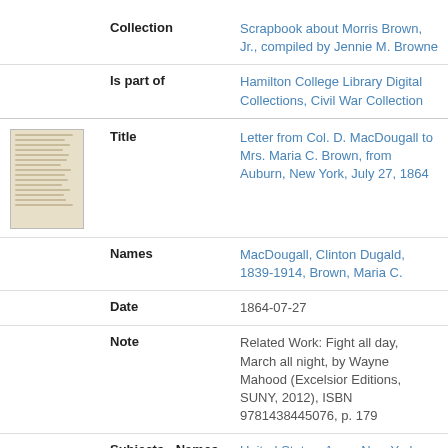| Collection | Scrapbook about Morris Brown, Jr., compiled by Jennie M. Browne |
| Is part of | Hamilton College Library Digital Collections, Civil War Collection |
| Title | Letter from Col. D. MacDougall to Mrs. Maria C. Brown, from Auburn, New York, July 27, 1864 |
| Names | MacDougall, Clinton Dugald, 1839-1914, Brown, Maria C. |
| Date | 1864-07-27 |
| Note | Related Work: Fight all day, March all night, by Wayne Mahood (Excelsior Editions, SUNY, 2012), ISBN 9781438445076, p. 179 |
| Subjects - Names | United States. Army. New York Infantry Regiment, 126th (1862-1865) |